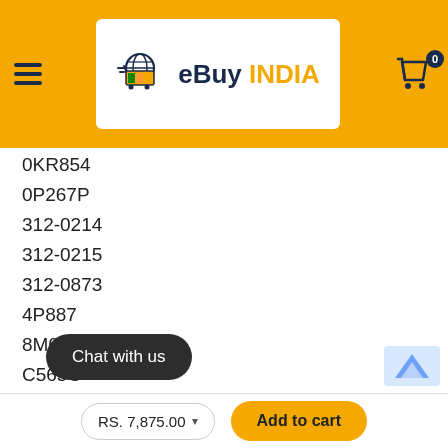[Figure (logo): eBuy INDIA logo with shopping cart icon on orange/yellow header background]
0KR854
0P267P
312-0214
312-0215
312-0873
4P887
8M039
C565C
DW842
J012F
H355F
KR...
Chat with us
RS. 7,875.00
Add to cart